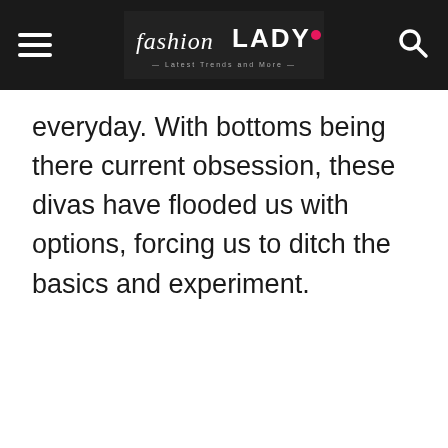fashion LADY — Latest Trends and More —
everyday. With bottoms being there current obsession, these divas have flooded us with options, forcing us to ditch the basics and experiment.